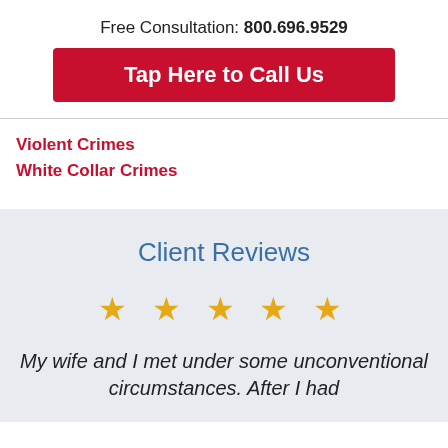Free Consultation: 800.696.9529
Tap Here to Call Us
Violent Crimes
White Collar Crimes
Client Reviews
[Figure (other): Five gold stars rating]
My wife and I met under some unconventional circumstances. After I had